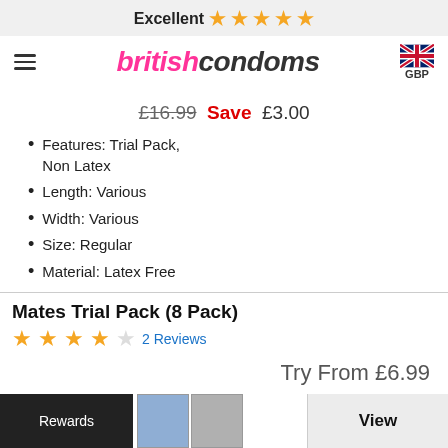Excellent ★★★★★
[Figure (logo): BritishCondoms logo with hamburger menu icon on left and UK flag with GBP on right]
£16.99 Save £3.00
Features: Trial Pack, Non Latex
Length: Various
Width: Various
Size: Regular
Material: Latex Free
Mates Trial Pack (8 Pack)
★★★★☆ 2 Reviews
Try From £6.99
Rewards
View